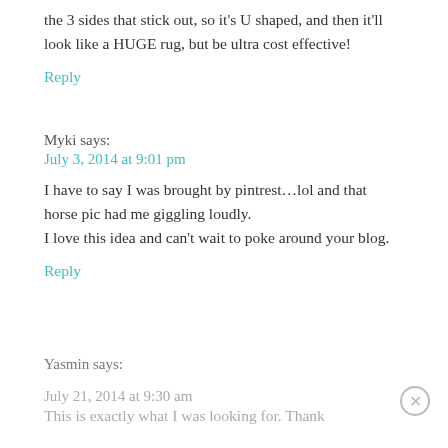the 3 sides that stick out, so it's U shaped, and then it'll look like a HUGE rug, but be ultra cost effective!
Reply
Myki says:
July 3, 2014 at 9:01 pm
I have to say I was brought by pintrest…lol and that horse pic had me giggling loudly.
I love this idea and can't wait to poke around your blog.
Reply
Yasmin says:
July 21, 2014 at 9:30 am
This is exactly what I was looking for. Thank